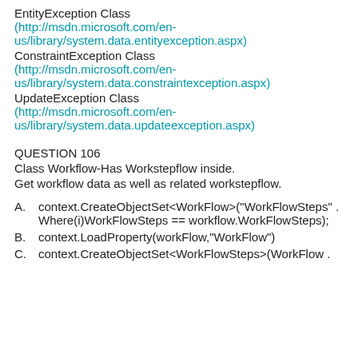EntityException Class (http://msdn.microsoft.com/en-us/library/system.data.entityexception.aspx)
ConstraintException Class (http://msdn.microsoft.com/en-us/library/system.data.constraintexception.aspx)
UpdateException Class (http://msdn.microsoft.com/en-us/library/system.data.updateexception.aspx)
QUESTION 106
Class Workflow-Has Workstepflow inside.
Get workflow data as well as related workstepflow.
A. context.CreateObjectSet<WorkFlow>("WorkFlowSteps" .Where(i)WorkFlowSteps == workflow.WorkFlowSteps);
B. context.LoadProperty(workFlow,"WorkFlow")
C. context.CreateObjectSet<WorkFlowSteps>(WorkFlow .